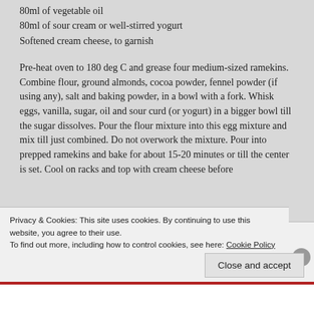80ml of vegetable oil
80ml of sour cream or well-stirred yogurt
Softened cream cheese, to garnish
Pre-heat oven to 180 deg C and grease four medium-sized ramekins. Combine flour, ground almonds, cocoa powder, fennel powder (if using any), salt and baking powder, in a bowl with a fork. Whisk eggs, vanilla, sugar, oil and sour curd (or yogurt) in a bigger bowl till the sugar dissolves. Pour the flour mixture into this egg mixture and mix till just combined. Do not overwork the mixture. Pour into prepped ramekins and bake for about 15-20 minutes or till the center is set. Cool on racks and top with cream cheese before
Privacy & Cookies: This site uses cookies. By continuing to use this website, you agree to their use.
To find out more, including how to control cookies, see here: Cookie Policy
Close and accept